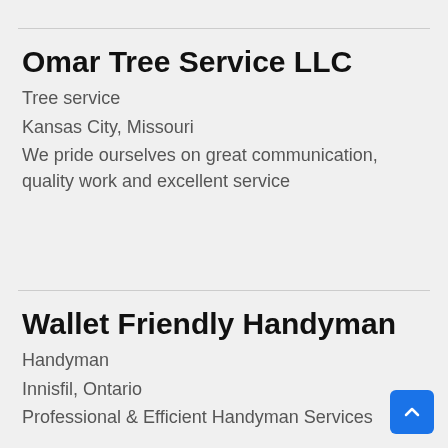Omar Tree Service LLC
Tree service
Kansas City, Missouri
We pride ourselves on great communication, quality work and excellent service
Wallet Friendly Handyman
Handyman
Innisfil, Ontario
Professional & Efficient Handyman Services